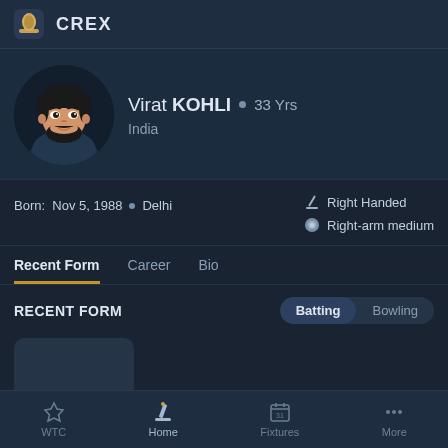CREX
[Figure (illustration): Cartoon avatar illustration of Virat Kohli with dark hair, beard, wearing dark clothing]
Virat KOHLI • 33 Yrs
India
Born: Nov 5, 1988 • Delhi
Right Handed
Right-arm medium
Recent Form | Career | Bio
RECENT FORM
Batting | Bowling
[Figure (other): Dark card placeholder rectangle]
WTC  Home  Fixtures  More